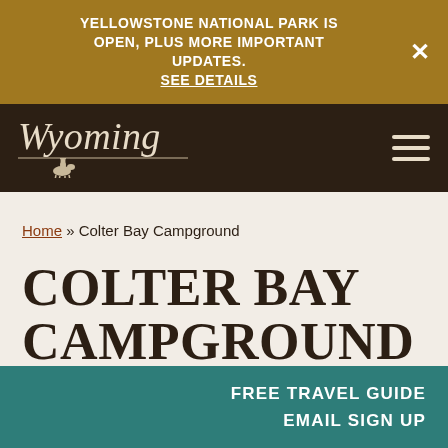YELLOWSTONE NATIONAL PARK IS OPEN, PLUS MORE IMPORTANT UPDATES. SEE DETAILS
[Figure (logo): Wyoming tourism logo with script text 'Wyoming' and cowboy on horse silhouette, on dark brown navigation bar with hamburger menu]
Home » Colter Bay Campground
COLTER BAY CAMPGROUND
FREE TRAVEL GUIDE EMAIL SIGN UP